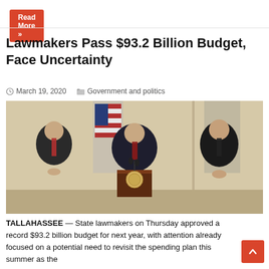Read More »
Lawmakers Pass $93.2 Billion Budget, Face Uncertainty
March 19, 2020   Government and politics
[Figure (photo): Press conference with three men in suits standing at a podium with a Florida state seal, an American flag and a Florida state flag in the background.]
TALLAHASSEE — State lawmakers on Thursday approved a record $93.2 billion budget for next year, with attention already focused on a potential need to revisit the spending plan this summer as the